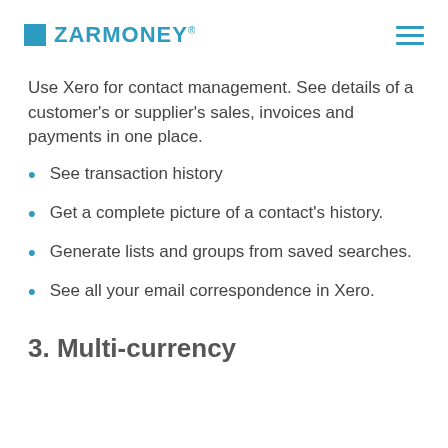ZarMoney
Use Xero for contact management. See details of a customer's or supplier's sales, invoices and payments in one place.
See transaction history
Get a complete picture of a contact's history.
Generate lists and groups from saved searches.
See all your email correspondence in Xero.
3. Multi-currency